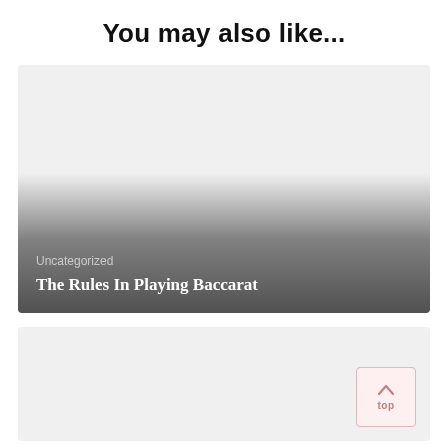You may also like...
[Figure (illustration): Card image with gradient overlay at bottom. Category label 'Uncategorized' and bold article title 'The Rules In Playing Baccarat' displayed over dark gradient at card bottom.]
[Figure (illustration): Second card image placeholder, light gray background, with a pink/rose-tinted 'top' scroll-to-top button in the bottom right corner.]